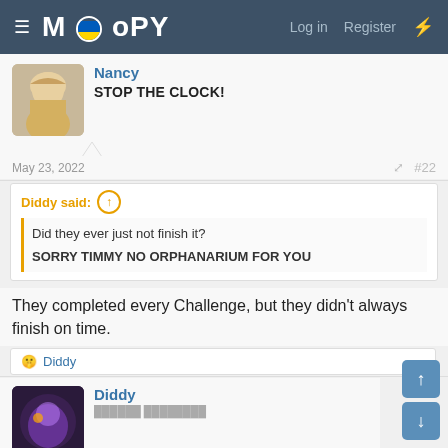MOoPY — Log in  Register
Nancy
STOP THE CLOCK!
May 23, 2022  #22
Diddy said: ↑
Did they ever just not finish it?
SORRY TIMMY NO ORPHANARIUM FOR YOU
They completed every Challenge, but they didn't always finish on time.
😜 Diddy
Diddy
██████ ████████